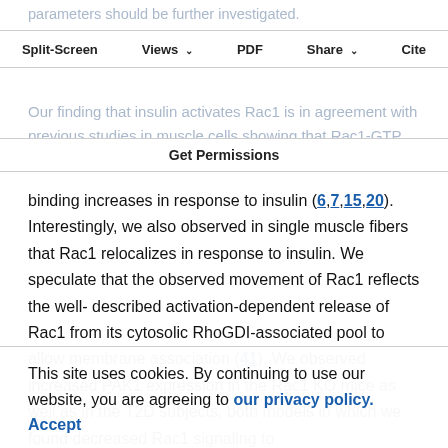parameters should be further investigated.
Split-Screen   Views ∨   PDF   Share ∨   Cite
Our finding that insulin activates Rac1 is in agreement with previous studies in muscle cells showing that Rac1-GTP
Get Permissions
binding increases in response to insulin (6,7,15,20). Interestingly, we also observed in single muscle fibers that Rac1 relocalizes in response to insulin. We speculate that the observed movement of Rac1 reflects the well-described activation-dependent release of Rac1 from its cytosolic RhoGDI-associated pool to allow membrane association (41). We observed increased PAK1 expression in the Rac1 KO mice as well as in the T2D subjects, both models in which we found decreased Rac1 signaling to
This site uses cookies. By continuing to use our website, you are agreeing to our privacy policy. Accept
Rac1 and downstream signaling as important